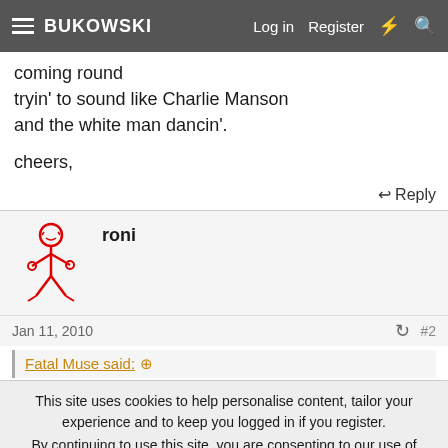BUKOWSKI — Log in  Register
coming round
tryin' to sound like Charlie Manson
and the white man dancin'.
cheers,
↩ Reply
roni
Jan 11, 2010
#2
Fatal Muse said: ⊕
This site uses cookies to help personalise content, tailor your experience and to keep you logged in if you register.
By continuing to use this site, you are consenting to our use of cookies.
✓ Accept   Learn more...